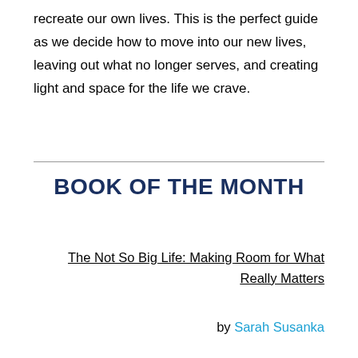recreate our own lives. This is the perfect guide as we decide how to move into our new lives, leaving out what no longer serves, and creating light and space for the life we crave.
BOOK OF THE MONTH
The Not So Big Life: Making Room for What Really Matters
by Sarah Susanka